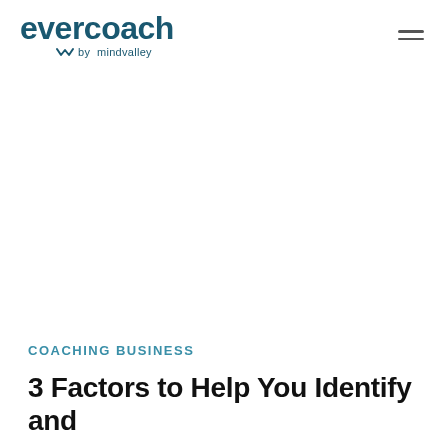[Figure (logo): Evercoach by Mindvalley logo — dark teal wordmark 'evercoach' with 'by mindvalley' subtitle and a small wing/checkmark icon]
COACHING BUSINESS
3 Factors to Help You Identify and